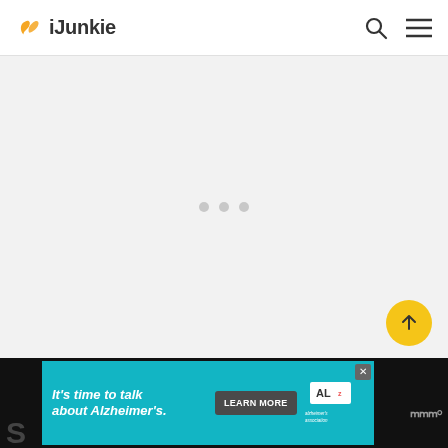[Figure (logo): iJunkie logo with orange leaf/J icon and dark text]
[Figure (screenshot): Loading/placeholder area with three grey dots in center on light grey background]
[Figure (infographic): Yellow circular FAB button with upward arrow]
[Figure (screenshot): Alzheimer's Association advertisement banner: teal background with italic text 'It's time to talk about Alzheimer's.' and LEARN MORE button and Alzheimer's Association logo]